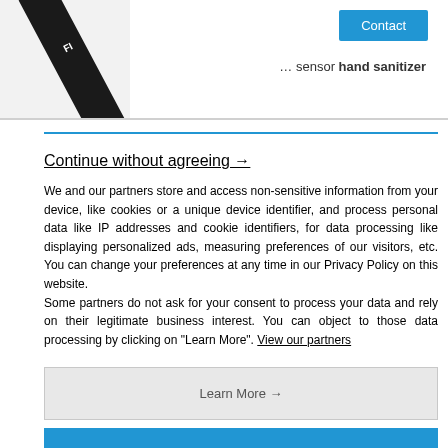[Figure (photo): Partial view of a dark diagonal bar/product (possibly a sensor or fitness tracker) on a white/grey background, with a 'Contact' button and '... sensor hand sanitizer' text to the right]
Continue without agreeing →
We and our partners store and access non-sensitive information from your device, like cookies or a unique device identifier, and process personal data like IP addresses and cookie identifiers, for data processing like displaying personalized ads, measuring preferences of our visitors, etc. You can change your preferences at any time in our Privacy Policy on this website.
Some partners do not ask for your consent to process your data and rely on their legitimate business interest. You can object to those data processing by clicking on "Learn More". View our partners
Learn More →
Agree and close